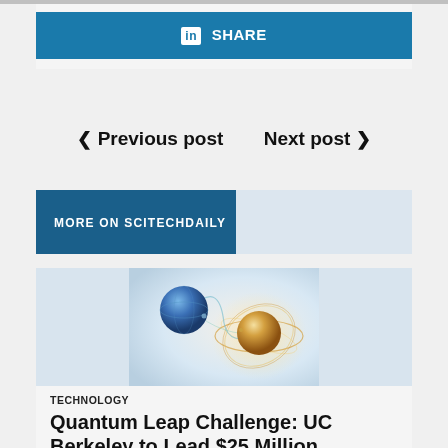[Figure (screenshot): LinkedIn Share button — blue button with 'in SHARE' text]
< Previous post    Next post >
MORE ON SCITECHDAILY
[Figure (illustration): Artistic illustration of two quantum particles (spheres) connected by entanglement lines, one blue sphere and one gold/amber sphere with orbital rings, on a light background]
TECHNOLOGY
Quantum Leap Challenge: UC Berkeley to Lead $25 Million Quantum Computing S...